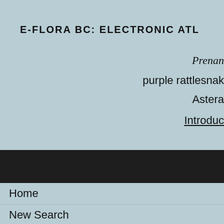E-FLORA BC: ELECTRONIC ATL
Prenan
purple rattlesnak
Astera
Introduc
This
Home
New Search
Comment
Mobile Page
Desktop Page